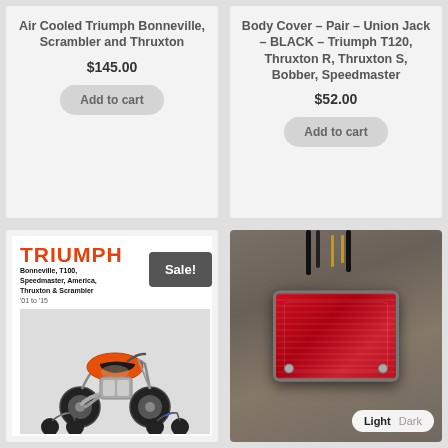Air Cooled Triumph Bonneville, Scrambler and Thruxton
$145.00
Add to cart
Body Cover – Pair – Union Jack – BLACK – Triumph T120, Thruxton R, Thruxton S, Bobber, Speedmaster
$52.00
Add to cart
[Figure (photo): Triumph motorcycle repair manual book cover showing orange Triumph Bonneville motorcycles, with 'TRIUMPH Bonneville, T100, Speedmaster, America, Thruxton & Scrambler '01 to '15' text. Sale badge overlay.]
[Figure (photo): Red rectangular motorcycle tail light with wires, photographed on a wooden surface. Light/Dark toggle visible at bottom right.]